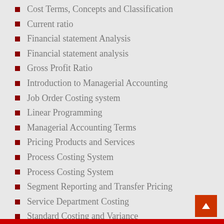Cost Terms, Concepts and Classification
Current ratio
Financial statement Analysis
Financial statement analysis
Gross Profit Ratio
Introduction to Managerial Accounting
Job Order Costing system
Linear Programming
Managerial Accounting Terms
Pricing Products and Services
Process Costing System
Process Costing System
Segment Reporting and Transfer Pricing
Service Department Costing
Standard Costing and Variance
Variable Costing System